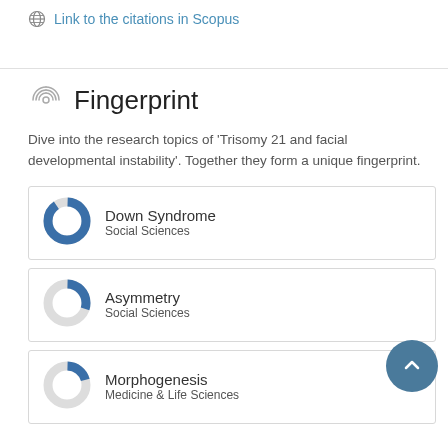Link to the citations in Scopus
Fingerprint
Dive into the research topics of 'Trisomy 21 and facial developmental instability'. Together they form a unique fingerprint.
Down Syndrome
Social Sciences
Asymmetry
Social Sciences
Morphogenesis
Medicine & Life Sciences